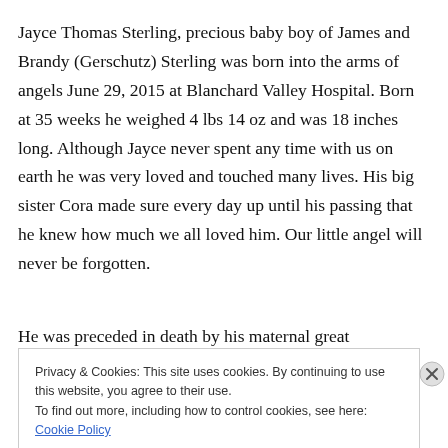Jayce Thomas Sterling, precious baby boy of James and Brandy (Gerschutz) Sterling was born into the arms of angels June 29, 2015 at Blanchard Valley Hospital. Born at 35 weeks he weighed 4 lbs 14 oz and was 18 inches long. Although Jayce never spent any time with us on earth he was very loved and touched many lives. His big sister Cora made sure every day up until his passing that he knew how much we all loved him. Our little angel will never be forgotten.
He was preceded in death by his maternal great
Privacy & Cookies: This site uses cookies. By continuing to use this website, you agree to their use.
To find out more, including how to control cookies, see here: Cookie Policy
Close and accept